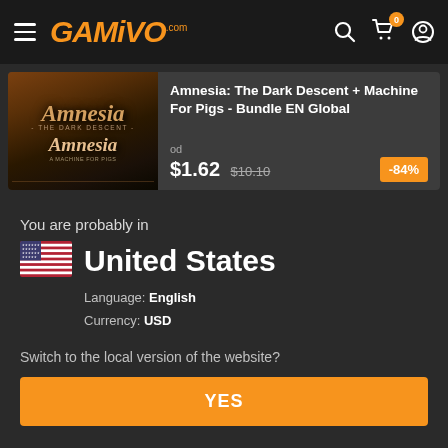GAMIVO.com
[Figure (screenshot): Amnesia: The Dark Descent game cover image with gothic dark styling]
Amnesia: The Dark Descent + Machine For Pigs - Bundle EN Global
od $1.62 $10.10 -84%
You are probably in
[Figure (illustration): United States flag emoji]
United States
Language: English
Currency: USD
Switch to the local version of the website?
YES